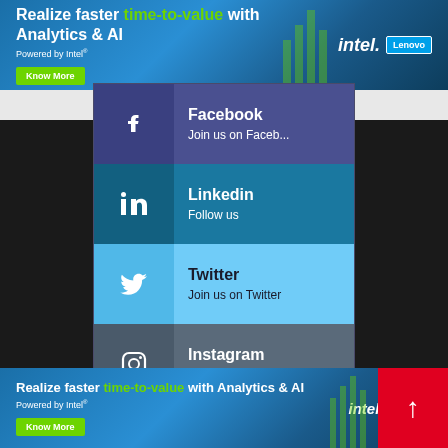[Figure (infographic): Intel/Lenovo banner advertisement: 'Realize faster time-to-value with Analytics & AI, Powered by Intel, Know More button, Intel and Lenovo logos']
[Figure (infographic): Social media follow widget with four rows: Facebook (Join us on Faceb...), Linkedin (Follow us), Twitter (Join us on Twitter), Instagram (Join us on Instagr...)]
[Figure (infographic): Intel/Lenovo banner advertisement at bottom with scroll-to-top red button: 'Realize faster time-to-value with Analytics & AI, Powered by Intel, Know More, Intel Lenovo logos']